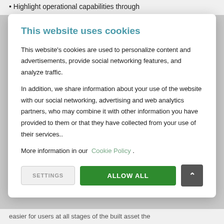Highlight operational capabilities through
This website uses cookies
This website's cookies are used to personalize content and advertisements, provide social networking features, and analyze traffic.
In addition, we share information about your use of the website with our social networking, advertising and web analytics partners, who may combine it with other information you have provided to them or that they have collected from your use of their services..
More information in our Cookie Policy .
easier for users at all stages of the built asset the